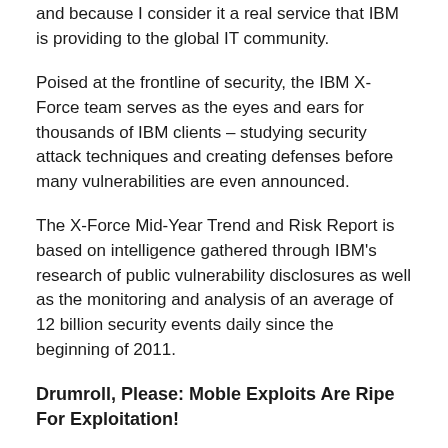and because I consider it a real service that IBM is providing to the global IT community.
Poised at the frontline of security, the IBM X-Force team serves as the eyes and ears for thousands of IBM clients – studying security attack techniques and creating defenses before many vulnerabilities are even announced.
The X-Force Mid-Year Trend and Risk Report is based on intelligence gathered through IBM's research of public vulnerability disclosures as well as the monitoring and analysis of an average of 12 billion security events daily since the beginning of 2011.
Drumroll, Please: Moble Exploits Are Ripe For Exploitation!
The headline: This report demonstrates the rapidly